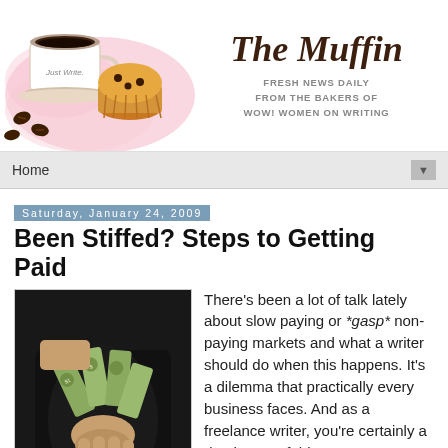[Figure (illustration): The Muffin blog header: watercolor-style image of a coffee cup labeled 'Just Write' and a muffin with coffee beans on a pink splash background; right side has the blog title 'The Muffin' in cursive and subtitle 'FRESH NEWS DAILY FROM THE BAKERS OF WOW! WOMEN ON WRITING']
The Muffin
FRESH NEWS DAILY FROM THE BAKERS OF WOW! WOMEN ON WRITING
Home
Saturday, January 24, 2009
Been Stiffed? Steps to Getting Paid
[Figure (photo): A woman in a black dress holding a bouquet of US dollar bills, wearing rings and a jeweled bracelet]
There's been a lot of talk lately about slow paying or *gasp* non-paying markets and what a writer should do when this happens. It's a dilemma that practically every business faces. And as a freelance writer, you're certainly a "business." If this